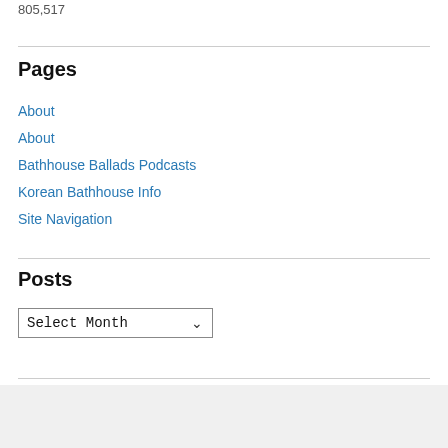805,517
Pages
About
About
Bathhouse Ballads Podcasts
Korean Bathhouse Info
Site Navigation
Posts
Select Month
Advertisements
[Figure (other): Day One app advertisement banner: blue background with DAYONE logo, three icons, and text 'The only journaling app you'll ever need.']